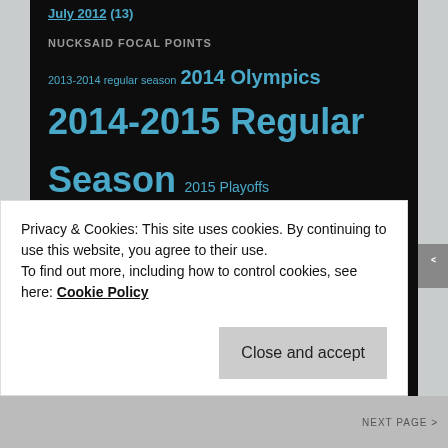July 2012 (13)
NUCKSAID FOCAL POINTS
2013-2014 regular season 2014 Olympics 2014-2015 Regular Season 2015 Playoffs 2016-17 Regular season Alex Burrows Anaheim Bettman Burrows Calgary Canucks Canucks fans Canucks Round Table CBA Chicago Colorado Columbus Cory Schneider Daniel Sedin Detroit Doan Eddie Lack Edmonton fan perspective fans fan stories Fehr female hockey fans GM Benning Henrik Sedin
Privacy & Cookies: This site uses cookies. By continuing to use this website, you agree to their use. To find out more, including how to control cookies, see here: Cookie Policy
Close and accept